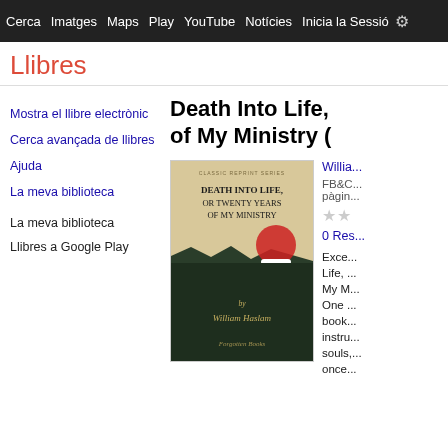Cerca  Imatges  Maps  Play  YouTube  Notícies  Inicia la Sessió  ⚙
Llibres
Mostra el llibre electrònic
Cerca avançada de llibres
Ajuda
La meva biblioteca
La meva biblioteca
Llibres a Google Play
Death Into Life, of My Ministry (
[Figure (photo): Book cover of 'Death Into Life, or Twenty Years of My Ministry' by William Haslam, Classic Reprint Series, Forgotten Books]
Willia...
FB&C... pàgin...
★★
0 Res...
Exce... Life, ... My M... One ... book... instru... souls,... once...